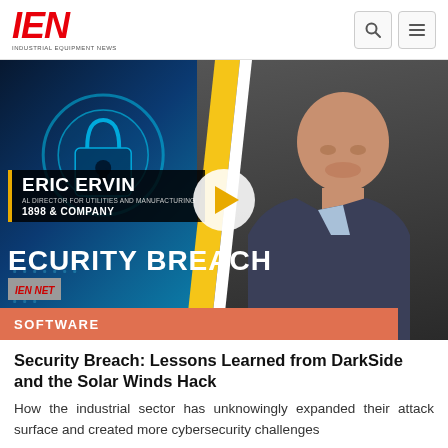IEN INDUSTRIAL EQUIPMENT NEWS
[Figure (screenshot): Video thumbnail showing Eric Ervin, Regional Director for Utilities and Manufacturing, 1898 & Company, with cybersecurity imagery on the left and his portrait on the right. Text overlay reads 'SECURITY BREACH' with a play button in the center. Software category tag shown at bottom.]
Security Breach: Lessons Learned from DarkSide and the Solar Winds Hack
How the industrial sector has unknowingly expanded their attack surface and created more cybersecurity challenges